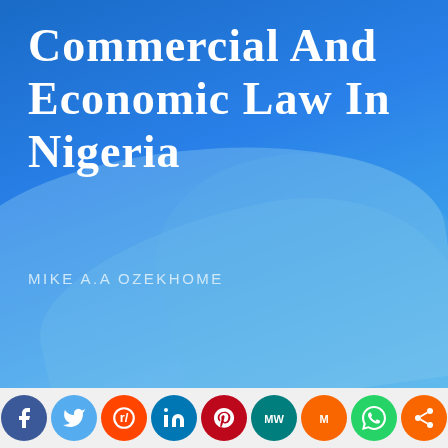[Figure (illustration): Book cover of 'Commercial and Economic Law in Nigeria' by Mike A.A Ozekhome. Blue gradient background with decorative wave shapes in lighter blue tones.]
Commercial and Economic Law in Nigeria
MIKE A.A OZEKHOME